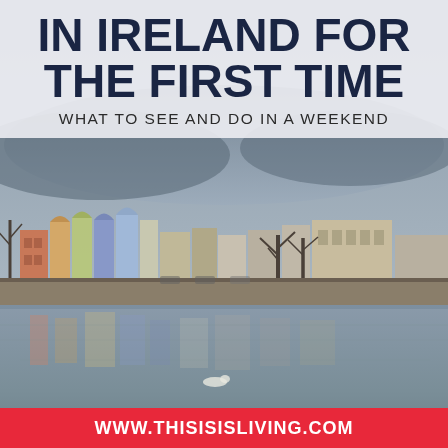IN IRELAND FOR THE FIRST TIME
WHAT TO SEE AND DO IN A WEEKEND
[Figure (photo): Photo of an Irish riverside town showing colorful buildings reflected in calm river water under an overcast sky, likely Cork city along the River Lee.]
WWW.THISISISLIVING.COM